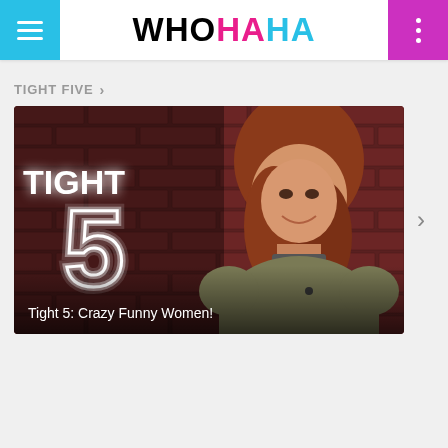WHO HA HA
TIGHT FIVE >
[Figure (photo): Video thumbnail for 'Tight 5: Crazy Funny Women!' showing a woman with auburn hair standing in front of a brick wall, with the 'TIGHT 5' logo (number 5 in neon-style outline with 'TIGHT' text above) on the left side. The caption 'Tight 5: Crazy Funny Women!' appears at the bottom.]